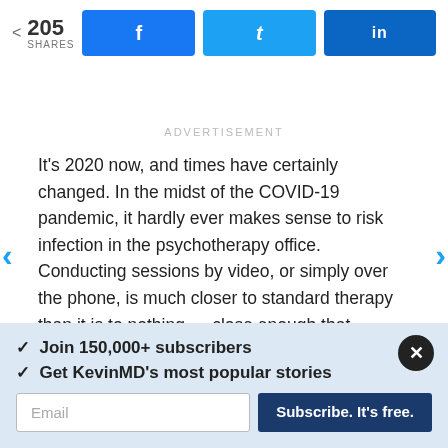[Figure (infographic): Social share bar showing 205 shares with Facebook, Twitter, and LinkedIn buttons]
ADVERTISEMENT
It's 2020 now, and times have certainly changed. In the midst of the COVID-19 pandemic, it hardly ever makes sense to risk infection in the psychotherapy office. Conducting sessions by video, or simply over the phone, is much closer to standard therapy than it is to nothing — close enough that holding out
✓ Join 150,000+ subscribers
✓ Get KevinMD's most popular stories